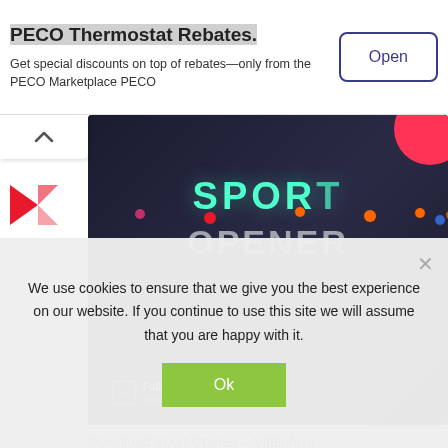PECO Thermostat Rebates.
Get special discounts on top of rebates—only from the PECO Marketplace PECO
[Figure (screenshot): Dark-themed sport opener video thumbnail showing 'SPORT OPENER' text in teal on dark background, with Full HD and Instagram icons at bottom, red circle accent top right]
Download Sport Opener – Videohive
[Figure (screenshot): Partial dark video thumbnail with red accent band on right, partially visible]
We use cookies to ensure that we give you the best experience on our website. If you continue to use this site we will assume that you are happy with it.